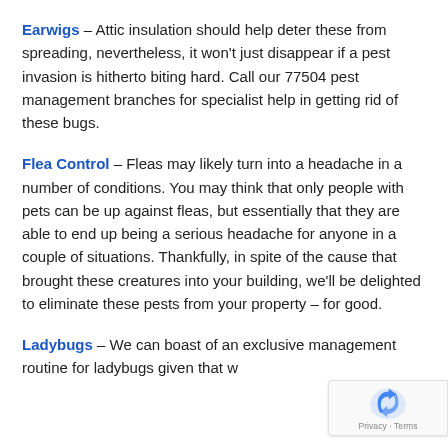Earwigs – Attic insulation should help deter these from spreading, nevertheless, it won't just disappear if a pest invasion is hitherto biting hard. Call our 77504 pest management branches for specialist help in getting rid of these bugs.
Flea Control – Fleas may likely turn into a headache in a number of conditions. You may think that only people with pets can be up against fleas, but essentially that they are able to end up being a serious headache for anyone in a couple of situations. Thankfully, in spite of the cause that brought these creatures into your building, we'll be delighted to eliminate these pests from your property – for good.
Ladybugs – We can boast of an exclusive management routine for ladybugs given that we...